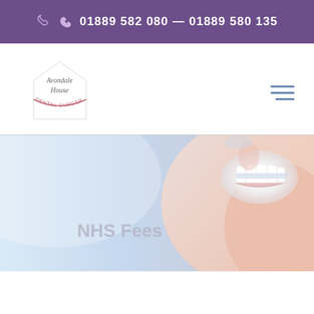01889 582 080 — 01889 580 135
[Figure (logo): Avondale House Dental Surgery logo with italic text and pink curved arc]
[Figure (photo): Close-up photo of a smiling person showing teeth with dental aligners/braces, pale blue and peach tones]
NHS Fees